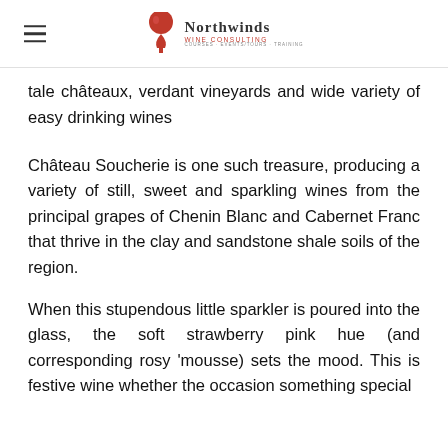Northwinds Wine Consulting
tale châteaux, verdant vineyards and wide variety of easy drinking wines
Château Soucherie is one such treasure, producing a variety of still, sweet and sparkling wines from the principal grapes of Chenin Blanc and Cabernet Franc that thrive in the clay and sandstone shale soils of the region.
When this stupendous little sparkler is poured into the glass, the soft strawberry pink hue (and corresponding rosy 'mousse) sets the mood. This is festive wine whether the occasion something special